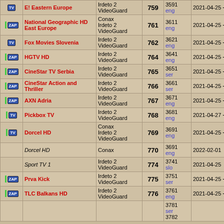| Icon | Channel Name | Encryption | Ch# | PID/Lang | Date |
| --- | --- | --- | --- | --- | --- |
| TV | E! Eastern Europe | Irdeto 2 VideoGuard | 759 | 3591 eng | 2021-04-25 + |
| ZAP | National Geographic HD East Europe | Conax Irdeto 2 VideoGuard | 761 | 3611 eng | 2021-04-25 + |
| TV | Fox Movies Slovenia | Irdeto 2 VideoGuard | 762 | 3621 eng | 2021-04-25 + |
| ZAP | HGTV HD | Irdeto 2 VideoGuard | 764 | 3641 eng | 2021-04-25 + |
| ZAP | CineStar TV Serbia | Irdeto 2 VideoGuard | 765 | 3651 ser | 2021-04-25 + |
| ZAP | CineStar Action and Thriller | Irdeto 2 VideoGuard | 766 | 3661 ser | 2021-04-25 + |
| ZAP | AXN Adria | Irdeto 2 VideoGuard | 767 | 3671 eng | 2021-04-25 + |
| TV | Pickbox TV | Irdeto 2 VideoGuard | 768 | 3681 eng | 2021-04-27 + |
| TV | Dorcel HD | Conax Irdeto 2 VideoGuard | 769 | 3691 eng | 2021-04-25 + |
|  | Dorcel HD | Conax | 770 | 3691 eng | 2022-02-01 |
|  | Sport TV 1 | Irdeto 2 VideoGuard | 774 | 3741 slo | 2021-04-25 |
| ZAP | Prva Kick | Irdeto 2 VideoGuard | 775 | 3751 ser | 2021-04-25 + |
| ZAP | TLC Balkans HD | Irdeto 2 VideoGuard | 776 | 3761 eng | 2021-04-25 + |
|  |  |  |  | 3781 ser 3782 |  |